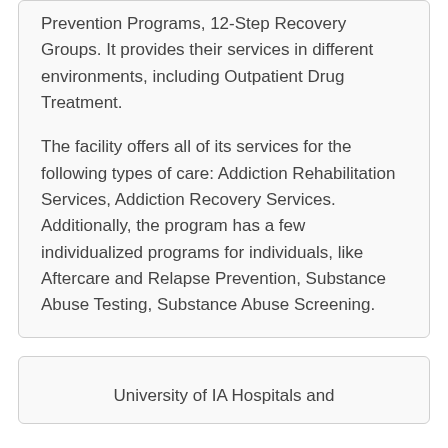Prevention Programs, 12-Step Recovery Groups. It provides their services in different environments, including Outpatient Drug Treatment.
The facility offers all of its services for the following types of care: Addiction Rehabilitation Services, Addiction Recovery Services. Additionally, the program has a few individualized programs for individuals, like Aftercare and Relapse Prevention, Substance Abuse Testing, Substance Abuse Screening.
University of IA Hospitals and